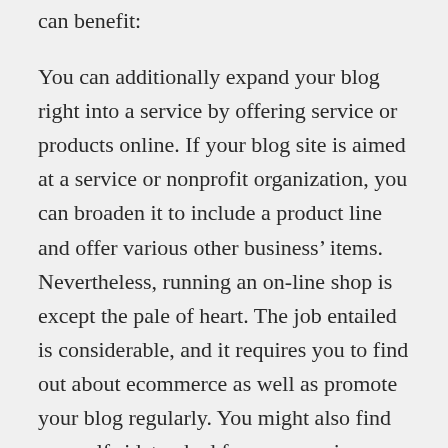can benefit:
You can additionally expand your blog right into a service by offering service or products online. If your blog site is aimed at a service or nonprofit organization, you can broaden it to include a product line and offer various other business’ items. Nevertheless, running an on-line shop is except the pale of heart. The job entailed is considerable, and it requires you to find out about ecommerce as well as promote your blog regularly. You might also find yourself sidetracked from your primary focus as a blog owner!
Blogging can provide you